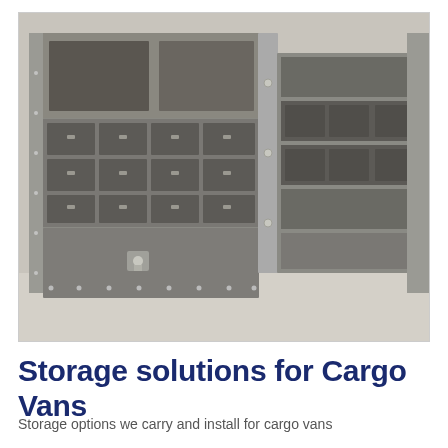[Figure (photo): Interior view of a cargo van storage system showing metal shelving units with multiple small compartment drawers/bins arranged in rows, a locking lower cabinet, and additional shelving visible on the right side. The system is gray/silver metal and mounted along the van wall.]
Storage solutions for Cargo Vans
Storage options we carry and install for cargo vans